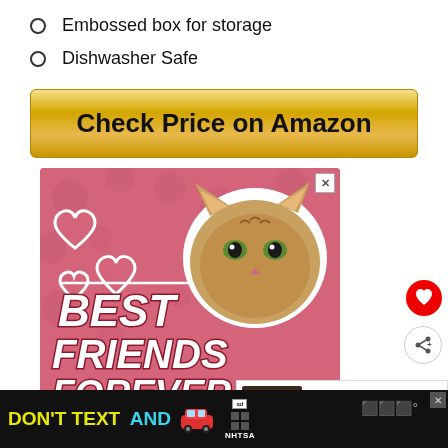Embossed box for storage
Dishwasher Safe
Check Price on Amazon
[Figure (illustration): Pink advertisement banner with cat face, heart outlines, and bold italic text reading BEST FRIENDS FOREVER]
WHAT'S NEXT → 5 Best Drinking...
[Figure (illustration): Bottom black banner ad: DON'T TEXT AND with red car emoji and NHTSA logo]